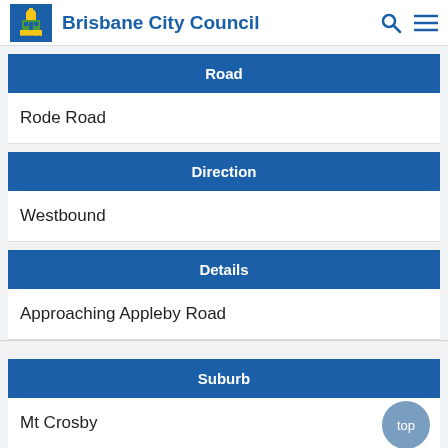Brisbane City Council
Road
Rode Road
Direction
Westbound
Details
Approaching Appleby Road
Suburb
Mt Crosby
Road